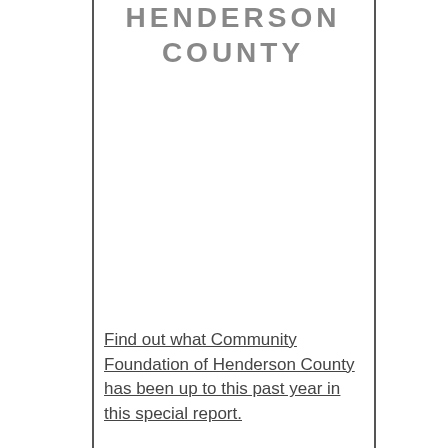HENDERSON COUNTY
Find out what Community Foundation of Henderson County has been up to this past year in this special report.